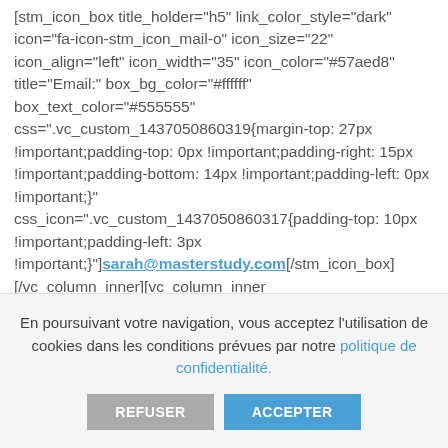[stm_icon_box title_holder="h5" link_color_style="dark" icon="fa-icon-stm_icon_mail-o" icon_size="22" icon_align="left" icon_width="35" icon_color="#57aed8" title="Email:" box_bg_color="#ffffff" box_text_color="#555555" css=".vc_custom_1437050860319{margin-top: 27px !important;padding-top: 0px !important;padding-right: 15px !important;padding-bottom: 14px !important;padding-left: 0px !important;}" css_icon=".vc_custom_1437050860317{padding-top: 10px !important;padding-left: 3px !important;}"]sarah@masterstudy.com[/stm_icon_box] [/vc_column_inner][vc_column_inner el_class="stm_sm_gutter_back" css=".vc_custom_1436791876714{padding-left: 0px !important;}" offset="vc_col-lg-6 vc_col-md-6"][stm_icon_box title_holder="h5" link_color_style="dark" icon="fa-icon-stm_icon_earth"
En poursuivant votre navigation, vous acceptez l'utilisation de cookies dans les conditions prévues par notre politique de confidentialité.